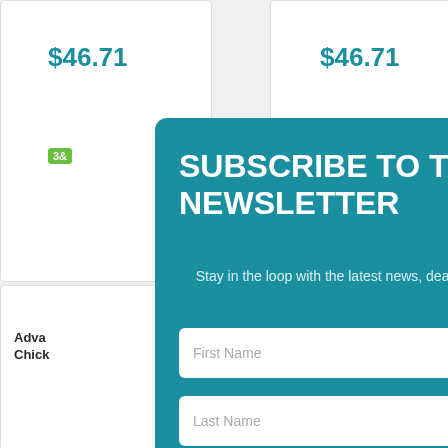$46.71
$46.71
Adva... Chick...
SUBSCRIBE TO THE AIRR NEWSLETTER
Stay in the loop with the latest news, deals and promotions from AIRR!
First Name
Last Name
Email
Interest
Livestock
Crop & Pasture
Pet
Equine
Poultry & Small Animal
Farm & General
Continue